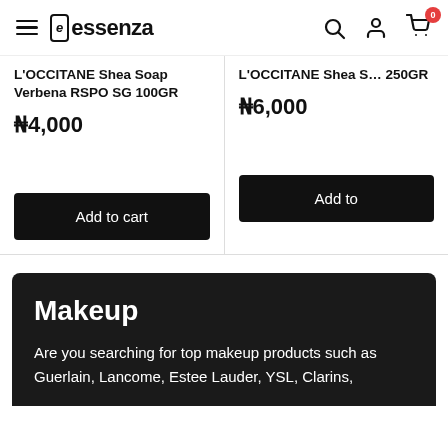essenza
L'OCCITANE Shea Soap Verbena RSPO SG 100GR
₦4,000
Add to cart
L'OCCITANE Shea S… 250GR
₦6,000
Add to
Makeup
Are you searching for top makeup products such as Guerlain, Lancome, Estee Lauder, YSL, Clarins,